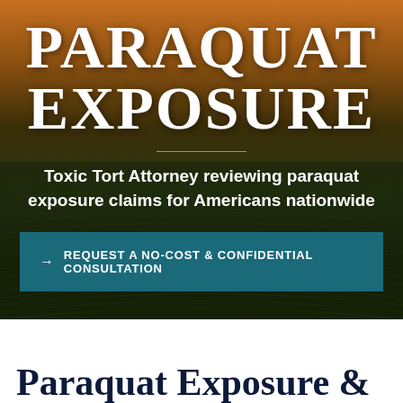PARAQUAT EXPOSURE
Toxic Tort Attorney reviewing paraquat exposure claims for Americans nationwide
→ REQUEST A NO-COST & CONFIDENTIAL CONSULTATION
Paraquat Exposure &